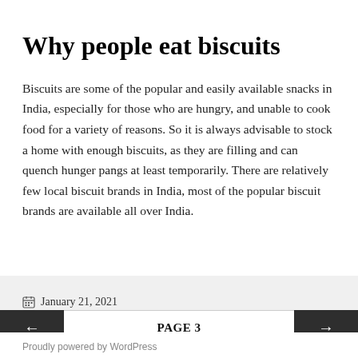Why people eat biscuits
Biscuits are some of the popular and easily available snacks in India, especially for those who are hungry, and unable to cook food for a variety of reasons. So it is always advisable to stock a home with enough biscuits, as they are filling and can quench hunger pangs at least temporarily. There are relatively few local biscuit brands in India, most of the popular biscuit brands are available all over India.
January 21, 2021
PAGE 3
Proudly powered by WordPress